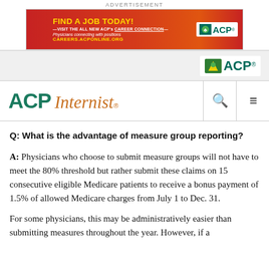ADVERTISEMENT
[Figure (illustration): ACP Career Connection advertisement banner: red/orange background with text 'FIND A JOB TODAY! VISIT THE ALL NEW ACP's CAREER CONNECTION — Physicians connecting with positions — CAREERS.ACPONLINE.ORG' and ACP logo on right]
[Figure (logo): ACP logo in navigation bar — green tree icon with 'ACP' text in teal]
ACP Internist
Q: What is the advantage of measure group reporting?
A: Physicians who choose to submit measure groups will not have to meet the 80% threshold but rather submit these claims on 15 consecutive eligible Medicare patients to receive a bonus payment of 1.5% of allowed Medicare charges from July 1 to Dec. 31.
For some physicians, this may be administratively easier than submitting measures throughout the year. However, if a